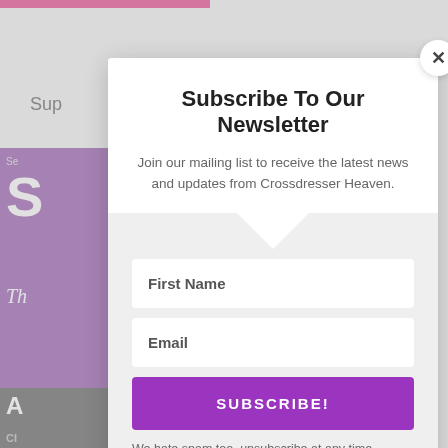Subscribe To Our Newsletter
Join our mailing list to receive the latest news and updates from Crossdresser Heaven.
First Name
Email
SUBSCRIBE!
We hate spam too, unsubscribe at any time.